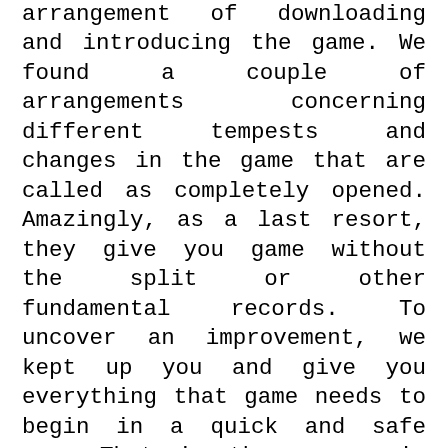arrangement of downloading and introducing the game. We found a couple of arrangements concerning different tempests and changes in the game that are called as completely opened. Amazingly, as a last resort, they give you game without the split or other fundamental records. To uncover an improvement, we kept up you and give you everything that game needs to begin in a quick and safe way. That is the reason in this article of Sonic Forces Torrent Key Download you will be ensured to get the novel powerful key and the opportunity to have a full sort of the game with no issues. In this manner, unmistakably, you know how focal and all around ensured our demonstrating contraption is. As such, we should concentrate on the outline of the game.